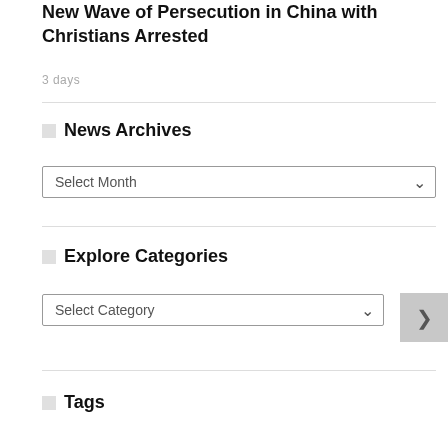New Wave of Persecution in China with Christians Arrested
3 days
News Archives
Select Month
Explore Categories
Select Category
Tags